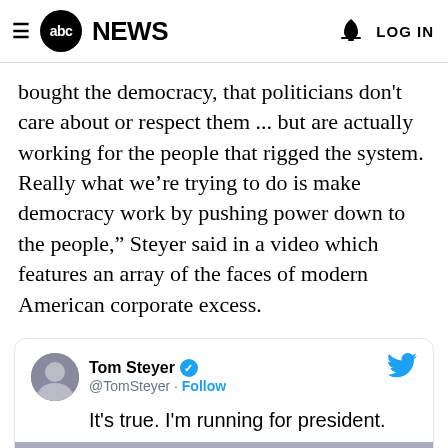abc NEWS   LOG IN
bought the democracy, that politicians don't care about or respect them ... but are actually working for the people that rigged the system. Really what we're trying to do is make democracy work by pushing power down to the people," Steyer said in a video which features an array of the faces of modern American corporate excess.
[Figure (screenshot): Embedded tweet from @TomSteyer with text 'It's true. I'm running for president.' and a video thumbnail with 'Watch on Twitter' button. Twitter bird logo visible top right.]